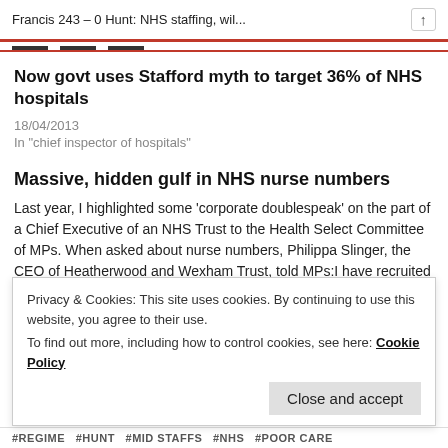Francis 243 – 0 Hunt: NHS staffing, wil...
Now govt uses Stafford myth to target 36% of NHS hospitals
18/04/2013
In "chief inspector of hospitals"
Massive, hidden gulf in NHS nurse numbers
Last year, I highlighted some 'corporate doublespeak' on the part of a Chief Executive of an NHS Trust to the Health Select Committee of MPs. When asked about nurse numbers, Philippa Slinger, the CEO of Heatherwood and Wexham Trust, told MPs:I have recruited 350 staff in the last year, including...
Privacy & Cookies: This site uses cookies. By continuing to use this website, you agree to their use.
To find out more, including how to control cookies, see here: Cookie Policy
Close and accept
#REGIME  #HUNT  #MID STAFFS  #NHS  #POOR CARE